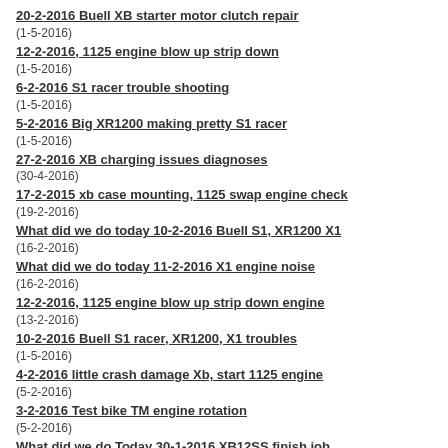20-2-2016 Buell XB starter motor clutch repair
(1-5-2016)
12-2-2016, 1125 engine blow up strip down
(1-5-2016)
6-2-2016 S1 racer trouble shooting
(1-5-2016)
5-2-2016 Big XR1200 making pretty S1 racer
(1-5-2016)
27-2-2016 XB charging issues diagnoses
(30-4-2016)
17-2-2015 xb case mounting, 1125 swap engine check
(19-2-2016)
What did we do today 10-2-2016 Buell S1, XR1200 X1
(16-2-2016)
What did we do today 11-2-2016 X1 engine noise
(16-2-2016)
12-2-2016, 1125 engine blow up strip down engine
(13-2-2016)
10-2-2016 Buell S1 racer, XR1200, X1 troubles
(1-5-2016)
4-2-2016 little crash damage Xb, start 1125 engine
(5-2-2016)
3-2-2016 Test bike TM engine rotation
(5-2-2016)
What did we do Today 30-1-2016 XB12SS finish job
(5-2-2016)